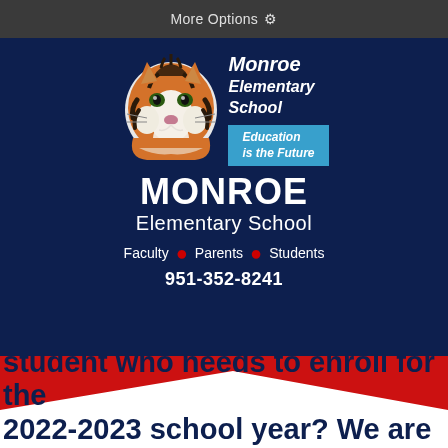More Options ⚙
[Figure (logo): Monroe Elementary School logo featuring a tiger illustration with text 'Monroe Elementary School' and tagline 'Education is the Future' on a blue background]
MONROE
Elementary School
Faculty • Parents • Students
951-352-8241
Do you have a student who needs to enroll for the 2022-2023 school year? We are